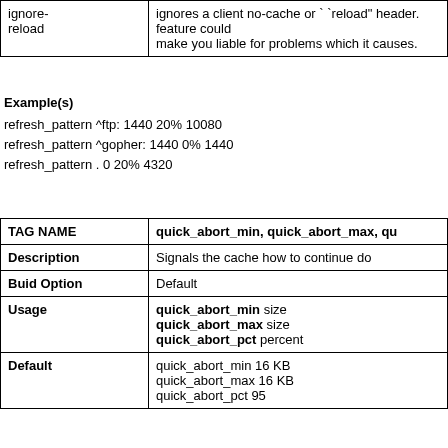| ignore-reload | ignores a client no-cache or ``reload" header. feature could make you liable for problems which it causes. |
Example(s)
refresh_pattern ^ftp: 1440 20% 10080
refresh_pattern ^gopher: 1440 0% 1440
refresh_pattern . 0 20% 4320
| TAG NAME | quick_abort_min, quick_abort_max, qu... |
| --- | --- |
| Description | Signals the cache how to continue do... |
| Buid Option | Default |
| Usage | quick_abort_min size
quick_abort_max size
quick_abort_pct percent |
| Default | quick_abort_min 16 KB
quick_abort_max 16 KB
quick_abort_pct 95 |